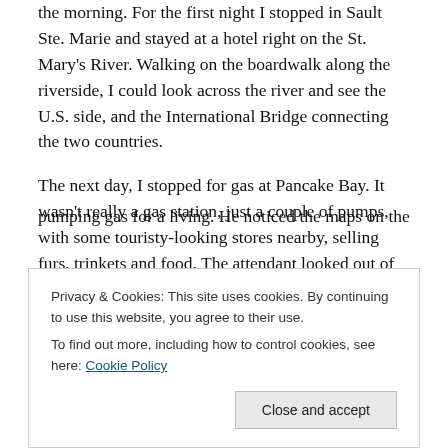the morning. For the first night I stopped in Sault Ste. Marie and stayed at a hotel right on the St. Mary's River. Walking on the boardwalk along the riverside, I could look across the river and see the U.S. side, and the International Bridge connecting the two countries.
The next day, I stopped for gas at Pancake Bay. It wasn't really a gas station, just a couple of pumps, with some touristy-looking stores nearby, selling furs, trinkets and food. The attendant looked out of place to me; his upright bearing struck me as not that of someone who fit with pumping gas for a living. He noticed the maps on the front
Privacy & Cookies: This site uses cookies. By continuing to use this website, you agree to their use.
To find out more, including how to control cookies, see here: Cookie Policy